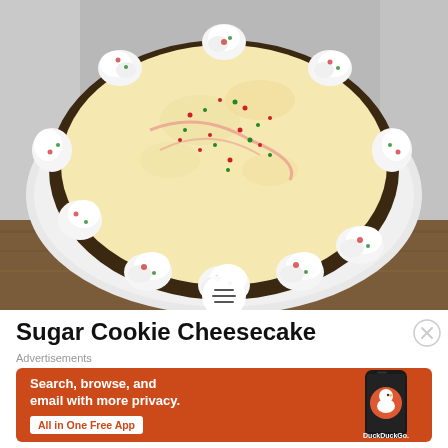[Figure (photo): A round sugar cookie cheesecake viewed from above, with a dark cookie crust, creamy white/yellow filling with red and green sprinkles, and whipped cream dollops around the edge also decorated with red and green sprinkles, placed on a white plate on a wooden surface.]
Sugar Cookie Cheesecake
Advertisements
[Figure (screenshot): DuckDuckGo advertisement banner with orange background showing a smartphone with the DuckDuckGo app. Text reads: Search, browse, and email with more privacy. All in One Free App. DuckDuckGo.]